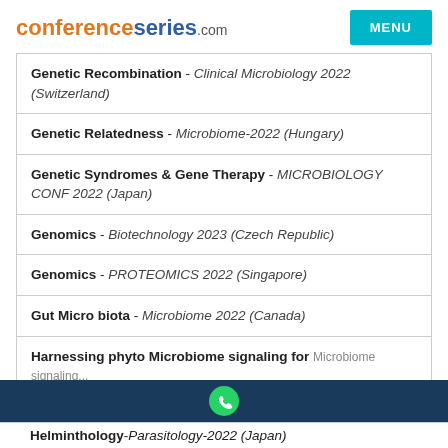conferenceseries.com  MENU
Genetic Recombination - Clinical Microbiology 2022 (Switzerland)
Genetic Relatedness - Microbiome-2022 (Hungary)
Genetic Syndromes & Gene Therapy - MICROBIOLOGY CONF 2022 (Japan)
Genomics - Biotechnology 2023 (Czech Republic)
Genomics - PROTEOMICS 2022 (Singapore)
Gut Microbiota - Microbiome 2022 (Canada)
Harnessing phyto Microbiome signaling for Microbi...
Helminthology - Parasitology-2022 (Japan)